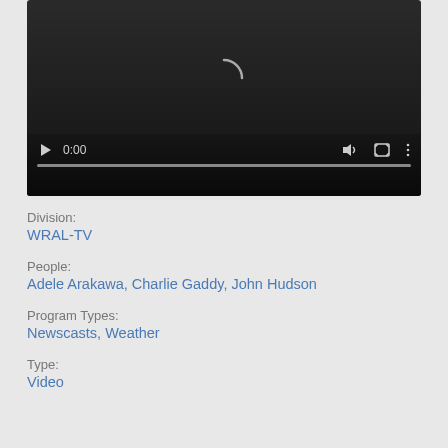[Figure (screenshot): Video player with dark background, loading spinner visible at top, playback controls at bottom showing play button, 0:00 timestamp, volume, fullscreen, and menu icons, with a progress bar]
Division:
WRAL-TV
People:
Adele Arakawa, Charlie Gaddy, John Hudson
Program Types:
Newscasts, Weather
Type:
Video